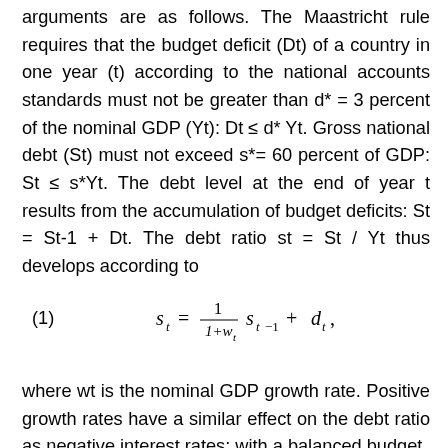arguments are as follows. The Maastricht rule requires that the budget deficit (Dt) of a country in one year (t) according to the national accounts standards must not be greater than d* = 3 percent of the nominal GDP (Yt): Dt ≤ d* Yt. Gross national debt (St) must not exceed s*= 60 percent of GDP: St ≤ s*Yt. The debt level at the end of year t results from the accumulation of budget deficits: St = St-1 + Dt. The debt ratio st = St / Yt thus develops according to
where wt is the nominal GDP growth rate. Positive growth rates have a similar effect on the debt ratio as negative interest rates: with a balanced budget